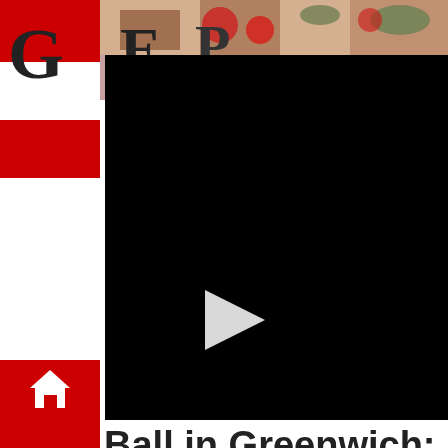[Figure (screenshot): Website screenshot showing a news/magazine site with red and white striped left sidebar with home icon, a banner at top with decorative imagery and large letters 'G' visible, a black video player with white play button triangle in the center, and partial article title text visible. Below the video: article title 'Ball in Greenwich: 1762 Rathbun-Coe House' in bold dark text, byline 'By: | November 26, 2021', a white content area with blue top border, a gray close button with X, and a gray footer strip.]